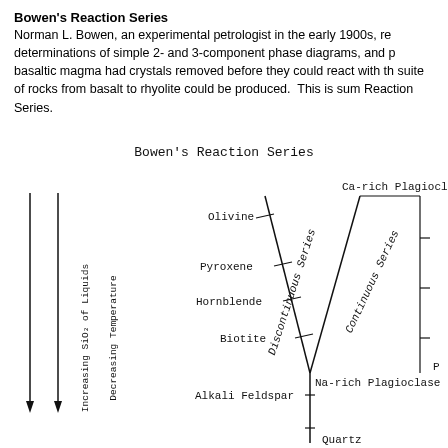Bowen's Reaction Series
Norman L. Bowen, an experimental petrologist in the early 1900s, re determinations of simple 2- and 3-component phase diagrams, and p basaltic magma had crystals removed before they could react with th suite of rocks from basalt to rhyolite could be produced. This is sum Reaction Series.
[Figure (schematic): Bowen's Reaction Series diagram showing two branches: a discontinuous series (Olivine, Pyroxene, Hornblende, Biotite) on the left and a continuous series (Ca-rich Plagioclase to Na-rich Plagioclase) on the right, converging at the bottom toward Alkali Feldspar and Quartz. Axes indicate Decreasing Temperature (vertical, downward) and Increasing SiO2 of Liquids (vertical, left side, downward).]